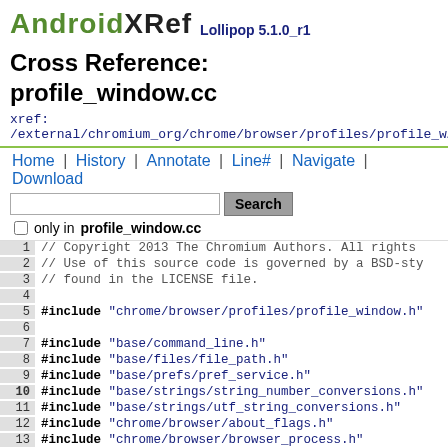AndroidXRef Lollipop 5.1.0_r1
Cross Reference: profile_window.cc
xref: /external/chromium_org/chrome/browser/profiles/profile_w...
Home | History | Annotate | Line# | Navigate | Download
Search (input box) | only in profile_window.cc
Code lines 1-15 of profile_window.cc